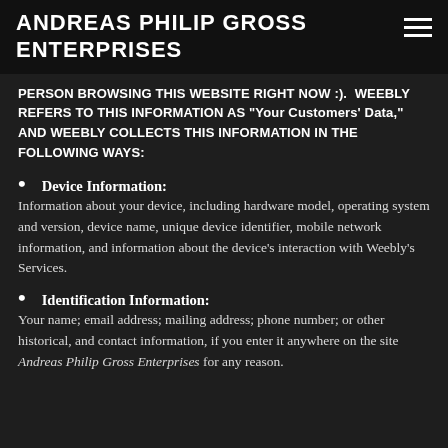ANDREAS PHILIP GROSS ENTERPRISES
PERSON BROWSING THIS WEBSITE RIGHT NOW :).  WEEBLY REFERS TO THIS INFORMATION AS "Your Customers' Data," AND WEEBLY COLLECTS THIS INFORMATION IN THE FOLLOWING WAYS:
Device Information: Information about your device, including hardware model, operating system and version, device name, unique device identifier, mobile network information, and information about the device's interaction with Weebly's Services.
Identification Information: Your name; email address; mailing address; phone number; or other historical, and contact information, if you enter it anywhere on the site Andreas Philip Gross Enterprises for any reason.